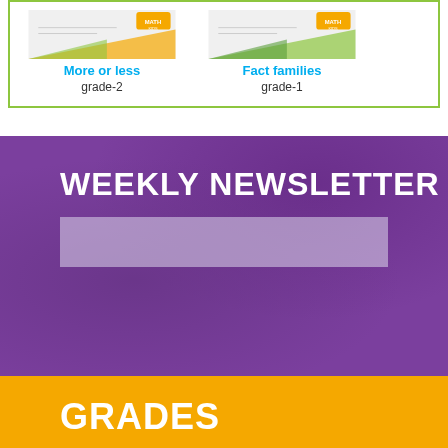[Figure (illustration): Worksheet thumbnail for 'More or less' grade-2]
More or less
grade-2
[Figure (illustration): Worksheet thumbnail for 'Fact families' grade-1]
Fact families
grade-1
WEEKLY NEWSLETTER
GRADES
PRE-K
K
GRADE 1
GRADE 2